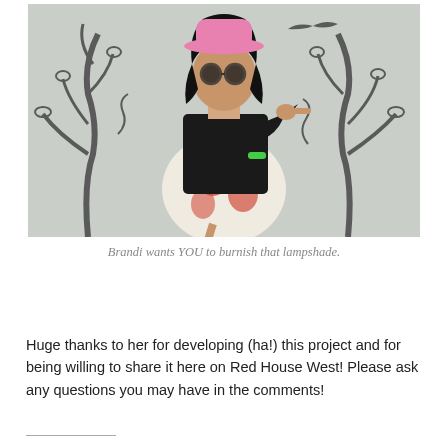[Figure (photo): A woman wearing a pink cowboy hat, round dark glasses, a black cardigan over a floral dress, pointing at the camera with one hand and holding a small object in the other, posed in front of a backdrop with drawn tree designs.]
Brandi wants YOU to burnish that lampshade.
Huge thanks to her for developing (ha!) this project and for being willing to share it here on Red House West! Please ask any questions you may have in the comments!